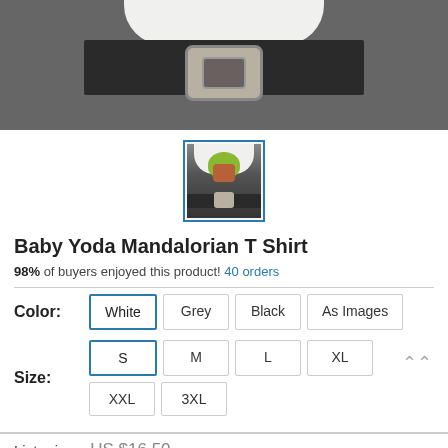[Figure (photo): Close-up photo of a person wearing a white t-shirt with a Baby Yoda / Mandalorian design, with a dark leather belt and decorative metal buckle visible.]
[Figure (photo): Thumbnail image of the same Baby Yoda Mandalorian T-shirt product, selected with a blue border.]
Baby Yoda Mandalorian T Shirt
98% of buyers enjoyed this product! 40 orders
Color: White Grey Black As Images
Size: S M L XL XXL 3XL
List price: US $16.50